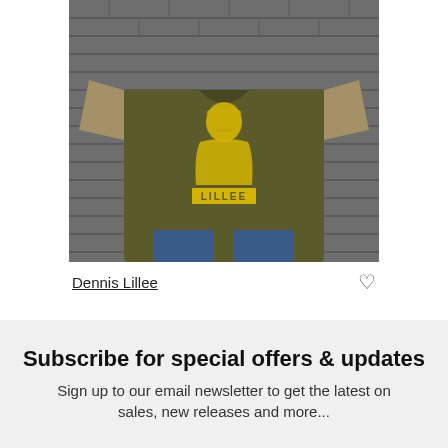[Figure (photo): A person wearing an olive/khaki green t-shirt with a yellow graphic print of Dennis Lillee (a cricketer) on it, standing against a grey brick wall background, wearing blue jeans.]
Dennis Lillee
Subscribe for special offers & updates
Sign up to our email newsletter to get the latest on sales, new releases and more...